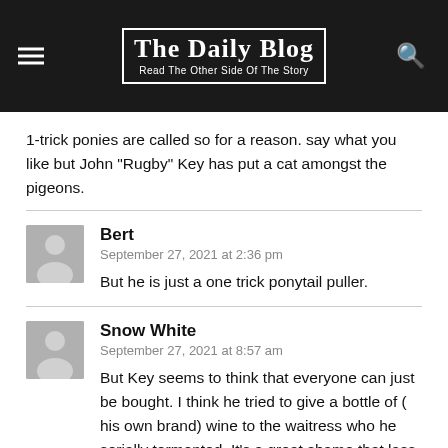The Daily Blog — Read The Other Side Of The Story
1-trick ponies are called so for a reason. say what you like but John “Rugby” Key has put a cat amongst the pigeons.
Bert
September 27, 2021 at 2:36 pm
But he is just a one trick ponytail puller.
Snow White
September 27, 2021 at 8:57 am
But Key seems to think that everyone can just be bought. I think he tried to give a bottle of ( his own brand) wine to the waitress who he serially tormented. It’s a great shame that lass had no male relative in the position to step forward and explain to John, man to man, why hitting on a girl young enough to be his daughter was socially